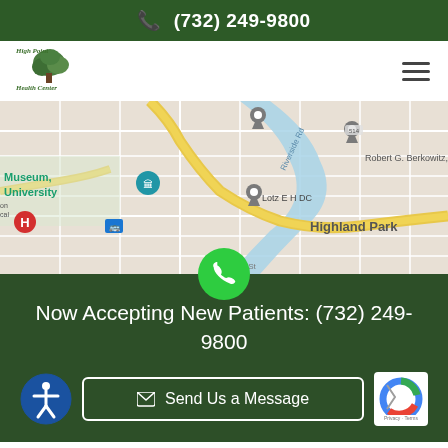(732) 249-9800
[Figure (logo): High Point Health Center logo with a tree illustration and cursive text]
[Figure (map): Google Maps screenshot showing Highland Park NJ area with pins for Lotz E H DC, Robert G. Berkowitz DC, Museum University, and a hospital marker]
Now Accepting New Patients: (732) 249-9800
Send Us a Message